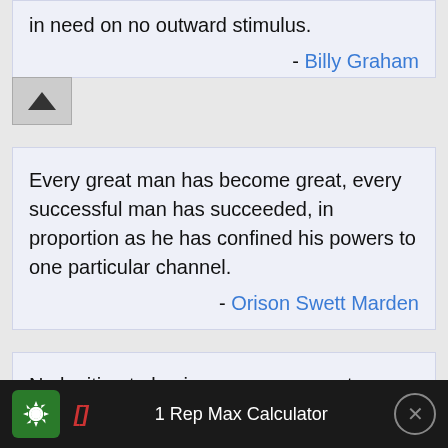in need on no outward stimulus.
- Billy Graham
Every great man has become great, every successful man has succeeded, in proportion as he has confined his powers to one particular channel.
- Orison Swett Marden
No legitimate business man ever got started on the road to permanent success by any other means than that of hard, intelligent work, coupled
1 Rep Max Calculator